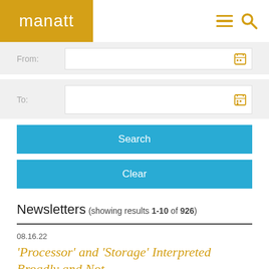manatt
From:
To:
Search
Clear
Newsletters (showing results 1-10 of 926)
08.16.22
‘Processor’ and ‘Storage’ Interpreted Broadly and Not